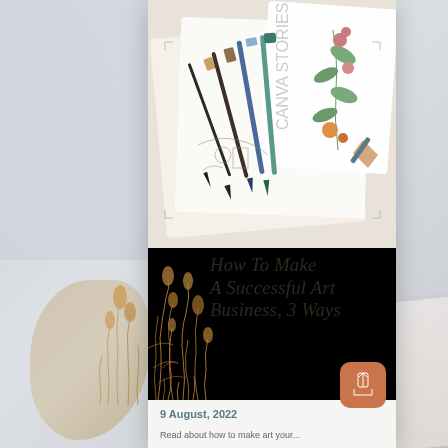[Figure (photo): Top portion showing art supplies — paint brushes, pens, watercolor botanical illustrations on paper/sketchbooks. Images shown as Canva stock photos in a phone/card layout.]
How To Make A Successful Art Business, 3 Ways
9 August, 2022
Read about how to make art your...